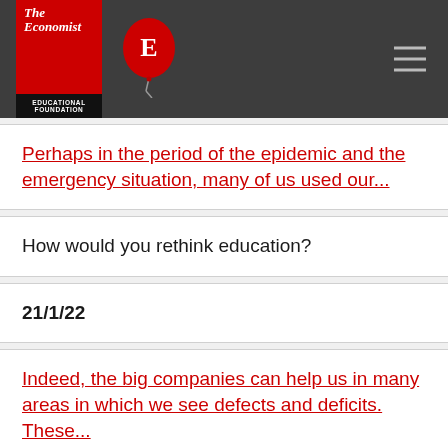The Economist Educational Foundation
Perhaps in the period of the epidemic and the emergency situation, many of us used our...
How would you rethink education?
21/1/22
Indeed, the big companies can help us in many areas in which we see defects and deficits. These...
The role of large companies in various fields